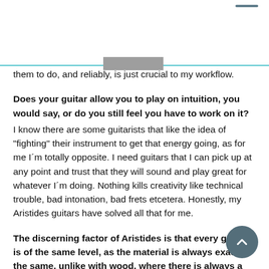them to do, and reliably, is just crucial to my workflow.
Does your guitar allow you to play on intuition, you would say, or do you still feel you have to work on it?
I know there are some guitarists that like the idea of “fighting” their instrument to get that energy going, as for me I´m totally opposite. I need guitars that I can pick up at any point and trust that they will sound and play great for whatever I´m doing. Nothing kills creativity like technical trouble, bad intonation, bad frets etcetera. Honestly, my Aristides guitars have solved all that for me.
The discerning factor of Aristides is that every guitar is of the same level, as the material is always exactly the same, unlike with wood, where there is always a bit of character in the guitar you have to identify with. Like you said, when you have to fight the guitar a bit. Doesn’t that make the sound